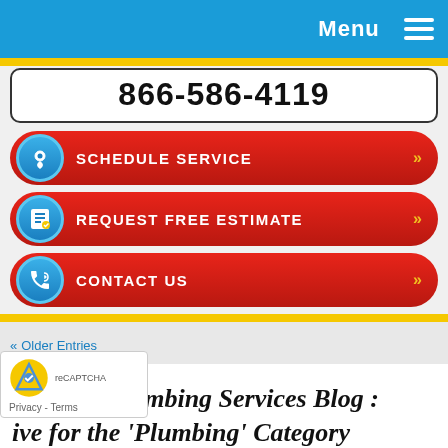Menu
866-586-4119
SCHEDULE SERVICE
REQUEST FREE ESTIMATE
CONTACT US
« Older Entries
Admiral Plumbing Services Blog : ive for the 'Plumbing' Category